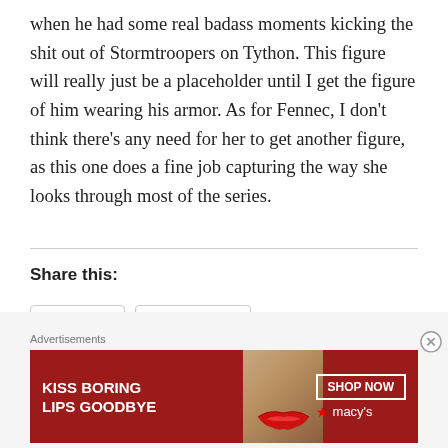when he had some real badass moments kicking the shit out of Stormtroopers on Tython. This figure will really just be a placeholder until I get the figure of him wearing his armor. As for Fennec, I don't think there's any need for her to get another figure, as this one does a fine job capturing the way she looks through most of the series.
Share this:
Loading...
Advertisements
[Figure (photo): Advertisement banner for Macy's with text 'KISS BORING LIPS GOODBYE' and a SHOP NOW button with Macy's logo, featuring a close-up of a woman's lips on a dark red background.]